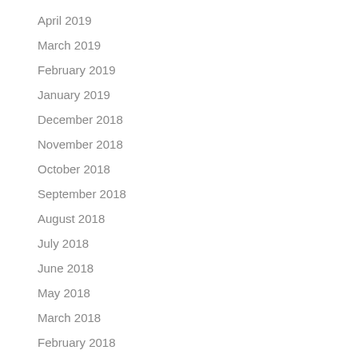April 2019
March 2019
February 2019
January 2019
December 2018
November 2018
October 2018
September 2018
August 2018
July 2018
June 2018
May 2018
March 2018
February 2018
January 2018